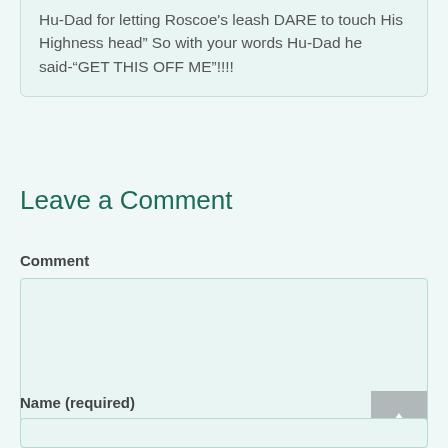Hu-Dad for letting Roscoe's leash DARE to touch His Highness head” So with your words Hu-Dad he said-“GET THIS OFF ME”!!!!
Reply
Leave a Comment
Comment
Name (required)